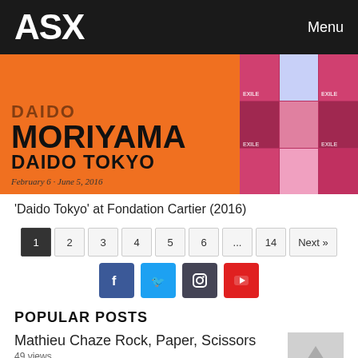ASX    Menu
[Figure (photo): Daido Moriyama – Daido Tokyo exhibition banner at Fondation Cartier, February 6 – June 5, 2016. Orange background with bold text and a photo collage of magazine covers on the right.]
'Daido Tokyo' at Fondation Cartier (2016)
1  2  3  4  5  6  ...  14  Next »
[Figure (infographic): Social media icons: Facebook (blue), Twitter (light blue), Instagram (dark), YouTube (red)]
POPULAR POSTS
Mathieu Chaze Rock, Paper, Scissors
49 views